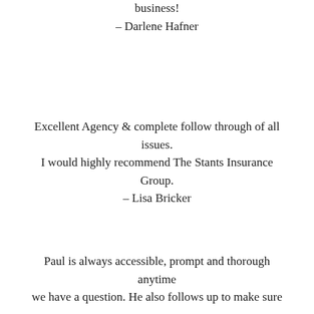business!
– Darlene Hafner
Excellent Agency & complete follow through of all issues. I would highly recommend The Stants Insurance Group. – Lisa Bricker
Paul is always accessible, prompt and thorough anytime we have a question. He also follows up to make sure